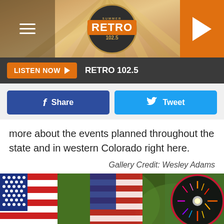[Figure (screenshot): Retro 102.5 radio station website header with sunburst logo, hamburger menu, and orange play button]
[Figure (screenshot): Dark gray listen bar with orange LISTEN NOW button and RETRO 102.5 station name in white]
[Figure (infographic): Social sharing buttons: blue Facebook Share and cyan Twitter Tweet buttons]
more about the events planned throughout the state and in western Colorado right here.
Gallery Credit: Wesley Adams
[Figure (photo): American flags in a row with bokeh background, and two circular insets showing colorful fireworks on the right side]